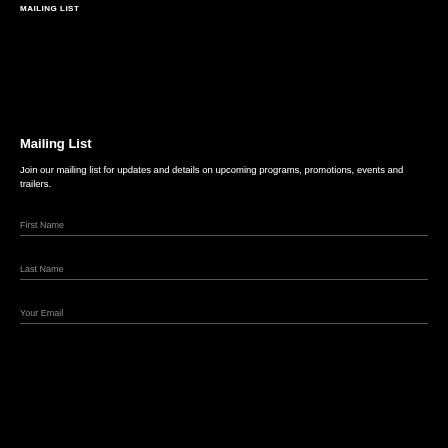MAILING LIST
Mailing List
Join our mailing list for updates and details on upcoming programs, promotions, events and trailers.
First Name
Last Name
Your Email